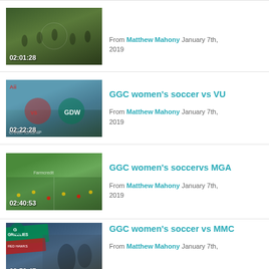[Figure (screenshot): Video thumbnail of soccer players on field, duration 02:01:28]
From Matthew Mahony January 7th, 2019
[Figure (screenshot): Video thumbnail showing GGC vs opponent logos, championship game, duration 02:22:28]
GGC women's soccer vs VU
From Matthew Mahony January 7th, 2019
[Figure (screenshot): Video thumbnail of soccer field aerial view, duration 02:40:53]
GGC women's soccervs MGA
From Matthew Mahony January 7th, 2019
[Figure (screenshot): Video thumbnail of GGC soccer event with players, Sunday Matinee, duration 02:56:47]
GGC women's soccer vs MMC
From Matthew Mahony January 7th,